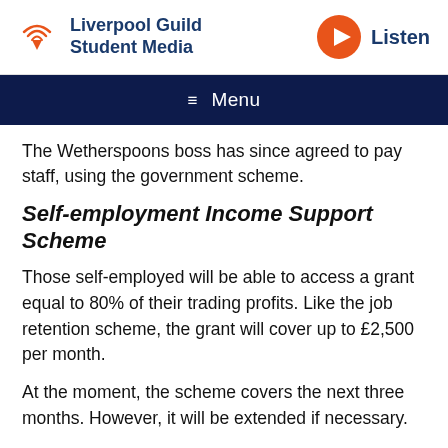Liverpool Guild Student Media | Listen
≡ Menu
The Wetherspoons boss has since agreed to pay staff, using the government scheme.
Self-employment Income Support Scheme
Those self-employed will be able to access a grant equal to 80% of their trading profits. Like the job retention scheme, the grant will cover up to £2,500 per month.
At the moment, the scheme covers the next three months. However, it will be extended if necessary.